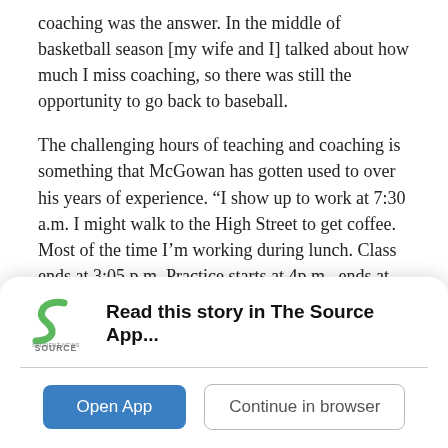coaching was the answer. In the middle of basketball season [my wife and I] talked about how much I miss coaching, so there was still the opportunity to go back to baseball.
The challenging hours of teaching and coaching is something that McGowan has gotten used to over his years of experience. “I show up to work at 7:30 a.m. I might walk to the High Street to get coffee. Most of the time I’m working during lunch. Class ends at 3:05 p.m. Practice starts at 4p.m., ends at 6p.m., [I get] home at 7ish, try to get the family organized, usually the kids are in bed at 9:15. Usually I’m working from
[Figure (other): Student News Source app banner with logo, 'Read this story in The Source App...' text, Open App button and Continue in browser button]